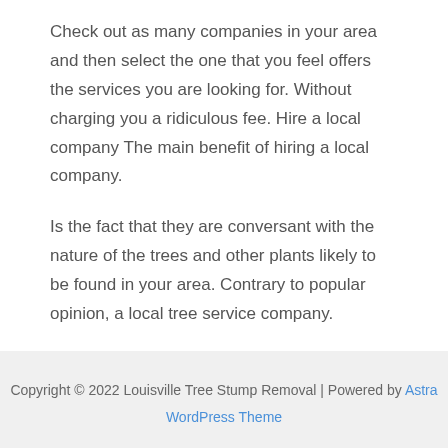Check out as many companies in your area and then select the one that you feel offers the services you are looking for. Without charging you a ridiculous fee. Hire a local company The main benefit of hiring a local company.
Is the fact that they are conversant with the nature of the trees and other plants likely to be found in your area. Contrary to popular opinion, a local tree service company.
Will provide more than just tree cutting and branch trimming services. There are those who will give you tips and tricks on how to handle various plants that you may have around your home.
Copyright © 2022 Louisville Tree Stump Removal | Powered by Astra WordPress Theme